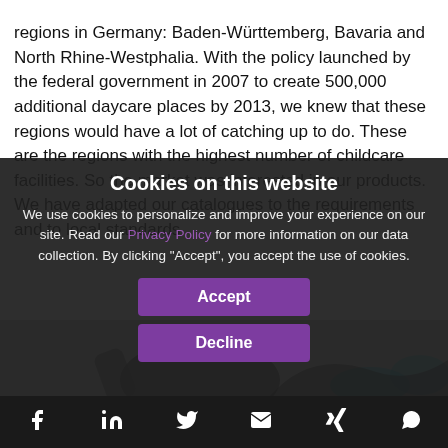Commercially, we have focused on three regions in Germany: Baden-Württemberg, Bavaria and North Rhine-Westphalia. With the policy launched by the federal government in 2007 to create 500,000 additional daycare places by 2013, we knew that these regions would have a lot of catching up to do. These are the regions with the highest number of childcare facilities. So the market was interested in our products. We have adapted our catalogues to the requirements and to local standards.
Cookies on this website
We use cookies to personalize and improve your experience on our site. Read our Privacy Policy for more information on our data collection. By clicking "Accept", you accept the use of cookies.
[Figure (illustration): Illustration of a person writing or drawing, partially visible behind the cookie consent overlay]
Social media icons: Facebook, LinkedIn, Twitter, Email, Xing, WhatsApp